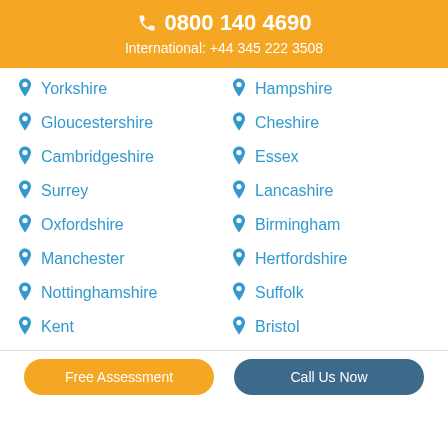0800 140 4690
International: +44 345 222 3508
Yorkshire
Hampshire
Gloucestershire
Cheshire
Cambridgeshire
Essex
Surrey
Lancashire
Oxfordshire
Birmingham
Manchester
Hertfordshire
Nottinghamshire
Suffolk
Kent
Bristol
Free Assessment
Call Us Now